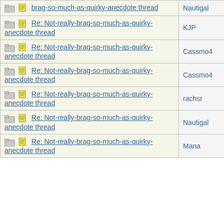| Thread | Author |
| --- | --- |
| Re: Not-really-brag-so-much-as-quirky-anecdote thread | Nautigal |
| Re: Not-really-brag-so-much-as-quirky-anecdote thread | KJP |
| Re: Not-really-brag-so-much-as-quirky-anecdote thread | Cassmo4 |
| Re: Not-really-brag-so-much-as-quirky-anecdote thread | Cassmo4 |
| Re: Not-really-brag-so-much-as-quirky-anecdote thread | rachsr |
| Re: Not-really-brag-so-much-as-quirky-anecdote thread | Nautigal |
| Re: Not-really-brag-so-much-as-quirky-anecdote thread | Mana |